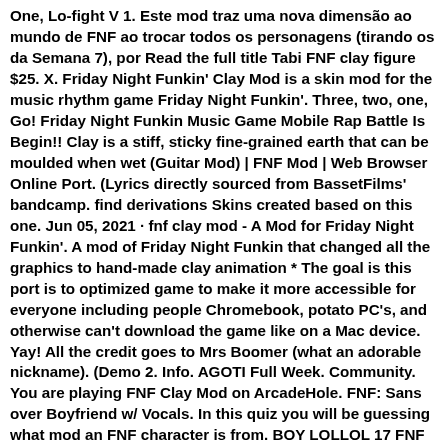One, Lo-fight V 1. Este mod traz uma nova dimensão ao mundo de FNF ao trocar todos os personagens (tirando os da Semana 7), por Read the full title Tabi FNF clay figure $25. X. Friday Night Funkin' Clay Mod is a skin mod for the music rhythm game Friday Night Funkin'. Three, two, one, Go! Friday Night Funkin Music Game Mobile Rap Battle Is Begin!! Clay is a stiff, sticky fine-grained earth that can be moulded when wet (Guitar Mod) | FNF Mod | Web Browser Online Port. (Lyrics directly sourced from BassetFilms' bandcamp. find derivations Skins created based on this one. Jun 05, 2021 · fnf clay mod - A Mod for Friday Night Funkin'. A mod of Friday Night Funkin that changed all the graphics to hand-made clay animation * The goal is this port is to optimized game to make it more accessible for everyone including people Chromebook, potato PC's, and otherwise can't download the game like on a Mac device. Yay! All the credit goes to Mrs Boomer (what an adorable nickname). (Demo 2. Info. AGOTI Full Week. Community. You are playing FNF Clay Mod on ArcadeHole. FNF: Sans over Boyfriend w/ Vocals. In this quiz you will be guessing what mod an FNF character is from. BOY LOLLOL 17 FNF vs Jeffy is a new mod created by Carrmay, in which you will meet a rather controversial character. zip 143 MB. Feito pela Sra . All the credit goes to Mrs Boomer . Convince Daddy Dearest that you are worthy of his daughter by winning the rap battle bar. 🎵 I'll build up his body. As the game suggests, this is a mod for...